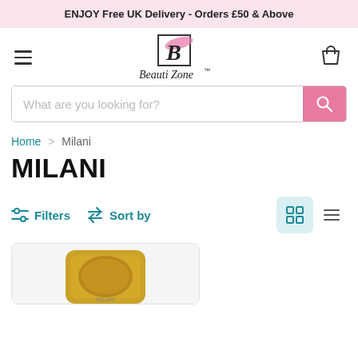ENJOY Free UK Delivery - Orders £50 & Above
[Figure (logo): Beauti Zone logo with stylized B in a box and cursive script text]
What are you looking for?
Home > Milani
MILANI
Filters  Sort by
[Figure (photo): Milani product in gold compact packaging, partially visible at bottom of page]